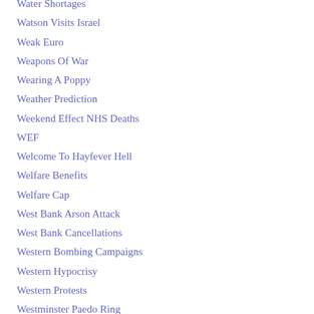Water Shortages
Watson Visits Israel
Weak Euro
Weapons Of War
Wearing A Poppy
Weather Prediction
Weekend Effect NHS Deaths
WEF
Welcome To Hayfever Hell
Welfare Benefits
Welfare Cap
West Bank Arson Attack
West Bank Cancellations
Western Bombing Campaigns
Western Hypocrisy
Western Protests
Westminster Paedo Ring
Westminster Protest